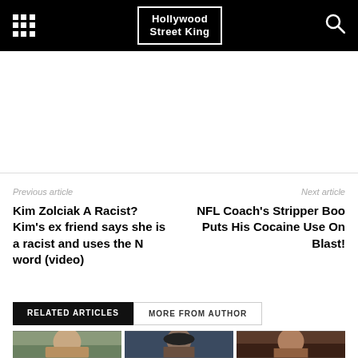Hollywood Street King
Previous article
Next article
Kim Zolciak A Racist? Kim's ex friend says she is a racist and uses the N word (video)
NFL Coach's Stripper Boo Puts His Cocaine Use On Blast!
RELATED ARTICLES
MORE FROM AUTHOR
[Figure (photo): Thumbnail photo 1 - person outdoors]
[Figure (photo): Thumbnail photo 2 - person with hat]
[Figure (photo): Thumbnail photo 3 - person portrait]